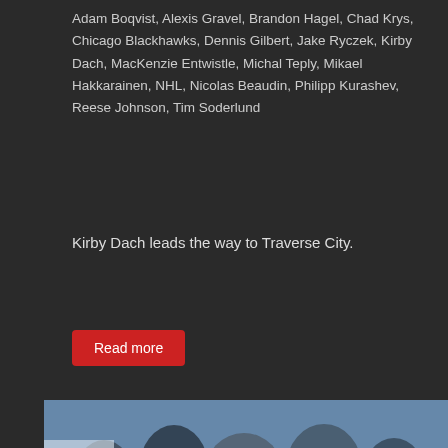Adam Boqvist, Alexis Gravel, Brandon Hagel, Chad Krys, Chicago Blackhawks, Dennis Gilbert, Jake Ryczek, Kirby Dach, MacKenzie Entwistle, Michal Teply, Mikael Hakkarainen, NHL, Nicolas Beaudin, Philipp Kurashev, Reese Johnson, Tim Soderlund
Kirby Dach leads the way to Traverse City.
Read more
[Figure (photo): Ice hockey game photo showing a Penn State player in white uniform skating with a stick near a goal, with a goalie in yellow and dark uniform defending. Rink boards show AQUAFINA and other sponsor logos. Crowd visible in background.]